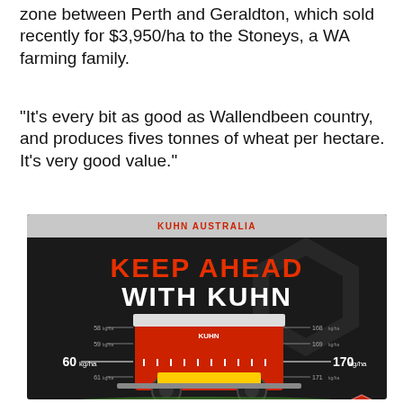zone between Perth and Geraldton, which sold recently for $3,950/ha to the Stoneys, a WA farming family.
“It’s every bit as good as Wallendbeen country, and produces fives tonnes of wheat per hectare. It’s very good value.”
[Figure (infographic): Kuhn Australia advertisement showing a red Kuhn fertiliser spreader machine with measurement indicators showing 60 kg/ha on the left and 170 kg/ha on the right, with additional smaller measurements (58, 59, 61 on left; 168, 169, 171 on right). Text reads KEEP AHEAD WITH KUHN. Kuhn logo diamond badge at bottom right.]